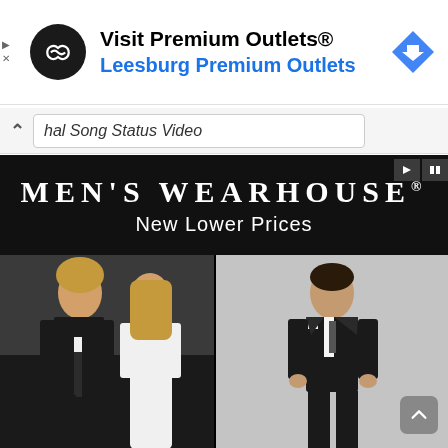[Figure (screenshot): Google ad banner: Visit Premium Outlets® / Leesburg Premium Outlets with circular logo and blue navigation arrow icon]
hal Song Status Video
[Figure (screenshot): Men's Wearhouse advertisement with white serif text on black background: MEN'S WEARHOUSE® New Lower Prices, with two product photos showing a man and woman in formal wear (left) and a boy in a suit (right)]